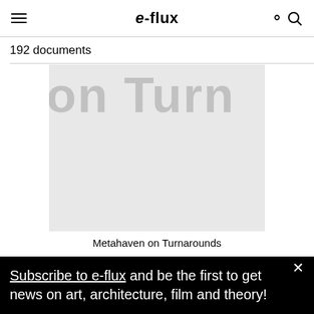e-flux
192 documents
[Figure (screenshot): Partially cropped book/publication cover with large light gray bold text reading 'on Turn' on a light gray background]
Metahaven on Turnarounds
Subscribe to e-flux and be the first to get news on art, architecture, film and theory!